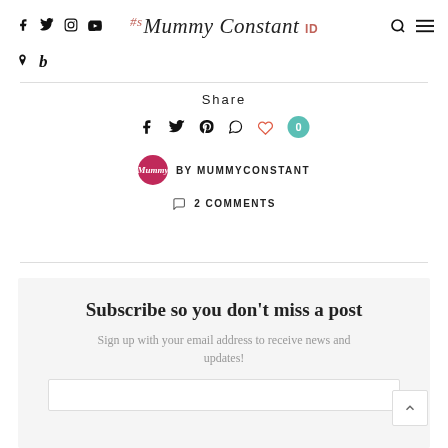#sMummy Constant ID
Share
BY MUMMYCONSTANT
2 COMMENTS
Subscribe so you don't miss a post
Sign up with your email address to receive news and updates!